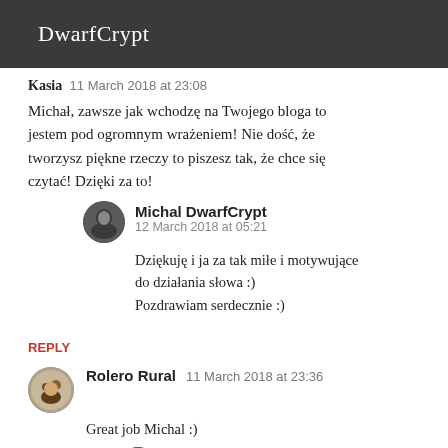DwarfCrypt
Kasia  11 March 2018 at 23:08
Michał, zawsze jak wchodzę na Twojego bloga to jestem pod ogromnym wrażeniem! Nie dość, że tworzysz piękne rzeczy to piszesz tak, że chce się czytać! Dzięki za to!
Michal DwarfCrypt
12 March 2018 at 05:21
Dziękuję i ja za tak miłe i motywujące do działania słowa :)
Pozdrawiam serdecznie :)
REPLY
Rolero Rural  11 March 2018 at 23:36
Great job Michal :)
Michal DwarfCrypt